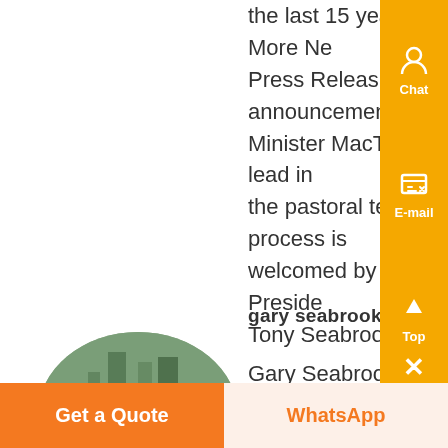the last 15 years in Gold, Know More Ne... Press Releas Today s announcement tha... Minister MacTiernan will take the lead in the pastoral tenure reform process is welcomed by the PGA said PGA Preside... Tony Seabrook...
gary seabrooke select exploration
[Figure (photo): Oval-cropped photo of a man in a white shirt standing in an industrial/mining facility setting]
Gary Seabrooke Business News Gary oke Mr Seabrooke has been ved in the exploration industry in bo... Australia and various African countries fo... the last 15 years in Gold, Base Metals a... Coal exploration Over the last five 5 yea... Mr Seabrooke has been involved in over 400,000 meters of contract exploration a...
Get a Quote
WhatsApp